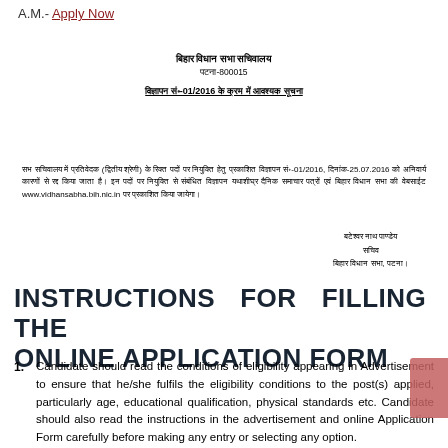A.M.- Apply Now
बिहार विधान सभा सचिवालय
पटना-800015
विज्ञापन सं॰-01/2016 के क्रम में आवश्यक सूचना
सभ सचिवालय में प्रतिवेदक (द्वितीय श्रेणी) के रिक्त पदों पर नियुक्ति हेतु प्रकाशित विज्ञापन सं॰-01/2016, दिनांक-25.07.2016 को अनिवार्य कारणों से रद्द किया जाता है। इन पदों पर नियुक्ति से संबंधित विज्ञापन यथाशीघ्र दैनिक समाचार पत्रों एवं बिहार विधान सभा की वेबसाईट www.vidhansabha.bih.nic.in पर प्रकाशित किया जायेगा।
बटेश्वर नाथ पाण्डेय
सचिव
बिहार विधान सभा, पटना।
INSTRUCTIONS FOR FILLING THE ONLINE APPLICATION FORM
Candidate should read the conditions of eligibility appearing in Advertisement to ensure that he/she fulfils the eligibility conditions to the post(s) applied, particularly age, educational qualification, physical standards etc. Candidate should also read the instructions in the advertisement and online Application Form carefully before making any entry or selecting any option.